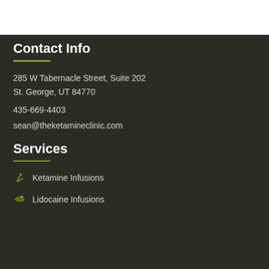Contact Info
285 W Tabernacle Street, Suite 202
St. George, UT 84770
435-669-4403
sean@theketamineclinic.com
Services
Ketamine Infusions
Lidocaine Infusions